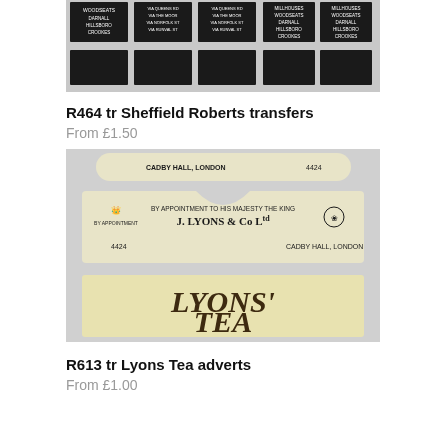[Figure (photo): Sheffield Roberts bus destination blind transfers with black background and white text showing route stops: WOODSEATS, DARNALL, HILLSBORO, CROOKES, and other destinations via various routes]
R464 tr Sheffield Roberts transfers
From £1.50
[Figure (photo): Lyons Tea advertising transfers showing cream/ivory labels: one with 'BY APPOINTMENT TO HIS MAJESTY THE KING J. LYONS & Co LTD' and 'CADBY HALL, LONDON' with reference number 4424, and one large label reading 'LYONS' TEA' in decorative brown serif lettering]
R613 tr Lyons Tea adverts
From £1.00